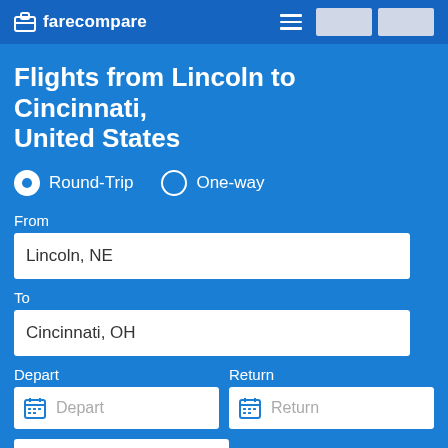farecompare
Flights from Lincoln to Cincinnati, United States
Round-Trip   One-way
From
Lincoln, NE
To
Cincinnati, OH
Depart
Return
Depart
Return
1 traveler
Nonstop